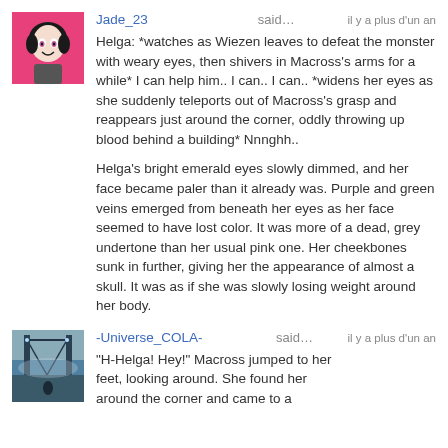[Figure (illustration): Avatar of user Jade_23: cartoon girl with black hair and pink background]
Jade_23 said…
il y a plus d'un an
Helga: *watches as Wiezen leaves to defeat the monster with weary eyes, then shivers in Macross's arms for a while* I can help him.. I can.. I can.. *widens her eyes as she suddenly teleports out of Macross's grasp and reappears just around the corner, oddly throwing up blood behind a building* Nnnghh..

Helga's bright emerald eyes slowly dimmed, and her face became paler than it already was. Purple and green veins emerged from beneath her eyes as her face seemed to have lost color. It was more of a dead, grey undertone than her usual pink one. Her cheekbones sunk in further, giving her the appearance of almost a skull. It was as if she was slowly losing weight around her body.
[Figure (illustration): Avatar of user -Universe_COLA-: dark sci-fi or fantasy scene]
-Universe_COLA- said…
il y a plus d'un an
"H-Helga! Hey!" Macross jumped to her feet, looking around. She found her around the corner and came to a